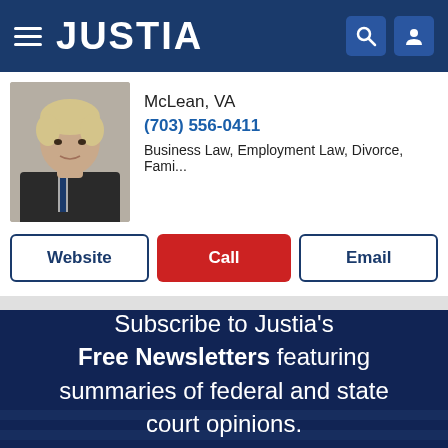JUSTIA
McLean, VA
(703) 556-0411
Business Law, Employment Law, Divorce, Fami...
Website | Call | Email
[Figure (infographic): Subscribe to Justia's Free Newsletters featuring summaries of federal and state court opinions. Subscribe Now button.]